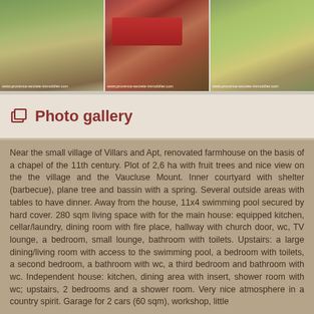[Figure (photo): Three property photos side by side: left shows stone farmhouse exterior with vegetation, center shows interior with red sofa and wooden furniture, right shows garden/yard area with trees. Each has watermark www.provence-secrete-immobilier.com at bottom.]
Photo gallery
Near the small village of Villars and Apt, renovated farmhouse on the basis of a chapel of the 11th century. Plot of 2,6 ha with fruit trees and nice view on the the village and the Vaucluse Mount. Inner courtyard with shelter (barbecue), plane tree and bassin with a spring. Several outside areas with tables to have dinner. Away from the house, 11x4 swimming pool secured by hard cover. 280 sqm living space with for the main house: equipped kitchen, cellar/laundry, dining room with fire place, hallway with church door, wc, TV lounge, a bedroom, small lounge, bathroom with toilets. Upstairs: a large dining/living room with access to the swimming pool, a bedroom with toilets, a second bedroom, a bathroom with wc, a third bedroom and bathroom with wc. Independent house: kitchen, dining area with insert, shower room with wc; upstairs, 2 bedrooms and a shower room. Very nice atmosphere in a country spirit. Garage for 2 cars (60 sqm), workshop, little